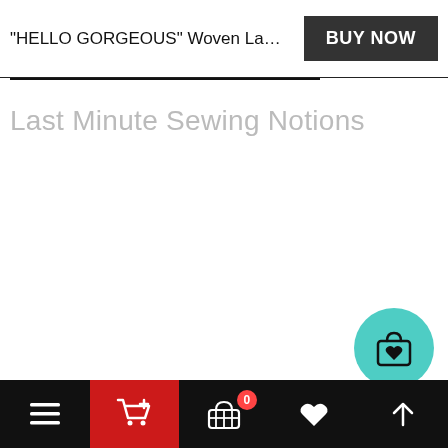"HELLO GORGEOUS" Woven Labels | Pack of ...
BUY NOW
Last Minute Sewing Notions
[Figure (illustration): Floating teal circular button with shopping bag and heart icon]
Navigation bar with menu, cart, basket (0), heart, and up-arrow icons